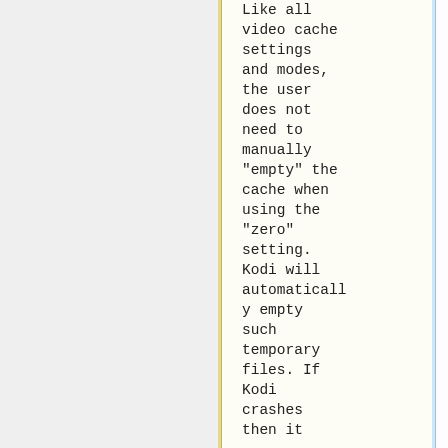Like all video cache settings and modes, the user does not need to manually "empty" the cache when using the "zero" setting. Kodi will automatically empty such temporary files. If Kodi crashes then it
Like all video cache settings and modes, the user does not need to manually "empty" the cache when using the "zero" setting. Kodi will automatically empty such temporary files. <!-- If Kodi crashes then it